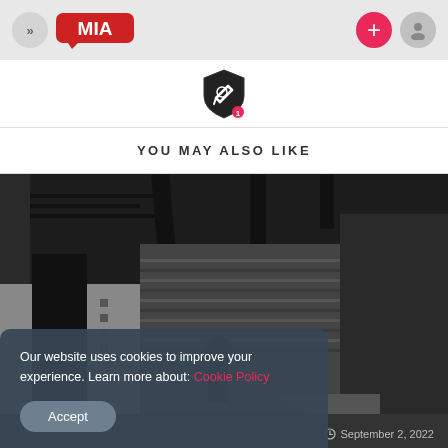MIA | navigation header with chevron, MIA logo, plus button, user button
[Figure (logo): Shield/edit icon with notification badge showing '1']
YOU MAY ALSO LIKE
[Figure (photo): Black and white photograph of a person silhouetted against an urban architectural background]
Our website uses cookies to improve your experience. Learn more about: Cookie Policy
Accept
September 2, 2022